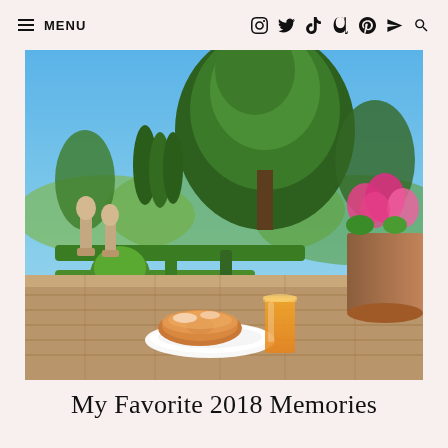≡ MENU  [social icons: Instagram, Twitter, TikTok, Goodreads, Pinterest, Telegram, Search]
[Figure (photo): Outdoor terrace with a stone balustrade, a large cedar tree dominating the background, manicured hedges forming a garden maze below, pink flowers in a terracotta pot on the right, a stone table in the foreground holding a white plate with a glazed donut/brioche and a glass of orange juice. Italian countryside landscape in the background under a blue sky.]
My Favorite 2018 Memories